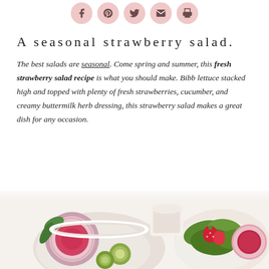[Figure (other): Social sharing icons row: Facebook (f), Pinterest (p), Twitter (bird), Email (envelope), Print (printer) — each in a pink circle]
A seasonal strawberry salad.
The best salads are seasonal. Come spring and summer, this fresh strawberry salad recipe is what you should make. Bibb lettuce stacked high and topped with plenty of fresh strawberries, cucumber, and creamy buttermilk herb dressing, this strawberry salad makes a great dish for any occasion.
[Figure (photo): Photo of a strawberry salad with bibb lettuce, fresh strawberries, cucumber slices, and watermelon radish, with a bowl of dressing in the background]